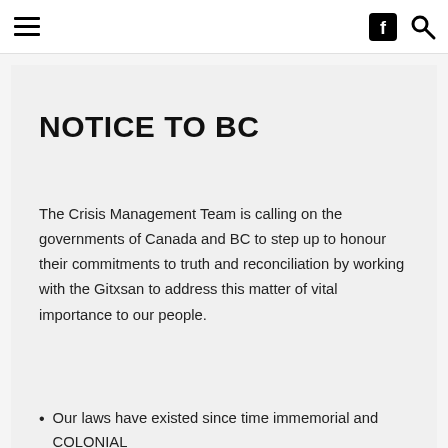☰  [Facebook icon] [Search icon]
NOTICE TO BC
The Crisis Management Team is calling on the governments of Canada and BC to step up to honour their commitments to truth and reconciliation by working with the Gitxsan to address this matter of vital importance to our people.
Our laws have existed since time immemorial and COLONIAL